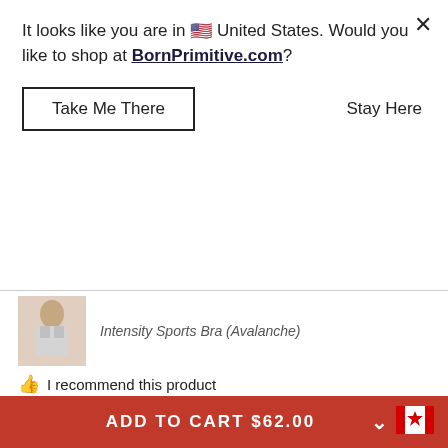It looks like you are in 🇺🇸 United States. Would you like to shop at BornPrimitive.com?
Take Me There
Stay Here
Intensity Sports Bra (Avalanche)
👍 I recommend this product
★★★★★ 30 days ago
ONE OF MY FAVORITES!
So this was my second bra purchase-I love how smooth, breathable, and comfortable the fabric is. Good
ADD TO CART $62.00